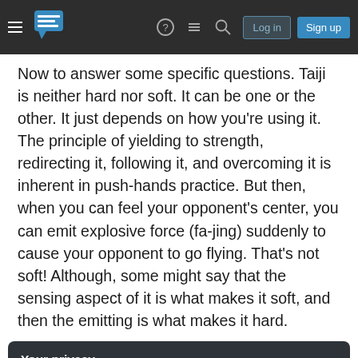Stack Exchange navigation bar with hamburger menu, logo, help, chat, search icons, Log in and Sign up buttons
Now to answer some specific questions. Taiji is neither hard nor soft. It can be one or the other. It just depends on how you're using it. The principle of yielding to strength, redirecting it, following it, and overcoming it is inherent in push-hands practice. But then, when you can feel your opponent's center, you can emit explosive force (fa-jing) suddenly to cause your opponent to go flying. That's not soft! Although, some might say that the sensing aspect of it is what makes it soft, and then the emitting is what makes it hard.
Your privacy
By clicking "Accept all cookies", you agree Stack Exchange can store cookies on your device and disclose information in accordance with our Cookie Policy.
Accept all cookies  Customize settings
having to rock their hips forward and bend at the